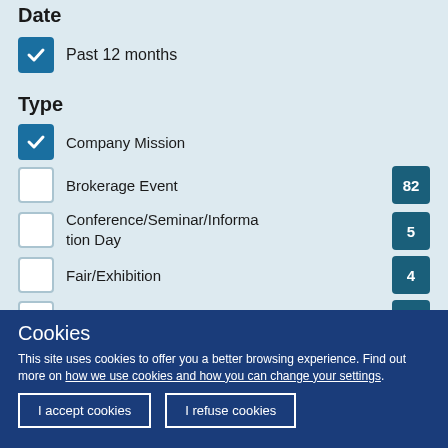Date
Past 12 months
Type
Company Mission
Brokerage Event 82
Conference/Seminar/Information Day 5
Fair/Exhibition 4
Sector Group Meeting 3
Training 1
Cookies
This site uses cookies to offer you a better browsing experience. Find out more on how we use cookies and how you can change your settings.
I accept cookies | I refuse cookies